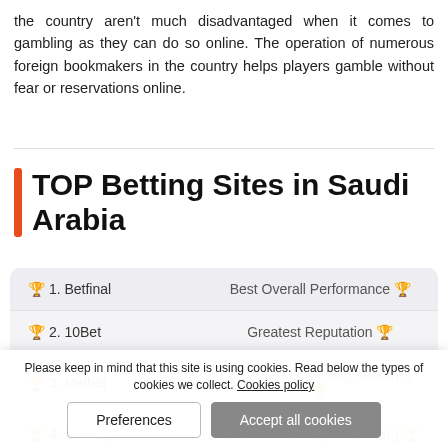the country aren't much disadvantaged when it comes to gambling as they can do so online. The operation of numerous foreign bookmakers in the country helps players gamble without fear or reservations online.
TOP Betting Sites in Saudi Arabia
| Site | Feature |
| --- | --- |
| 🏆 1. Betfinal | Best Overall Performance 🏆 |
| 🏆 2. 10Bet | Greatest Reputation 🏆 |
| 🏆 3. Melbet | Most Useful Betting Features 🏆 |
| 🏆 4. Betway | Excellent for eSports Betting 🏆 |
Please keep in mind that this site is using cookies. Read below the types of cookies we collect. Cookies policy